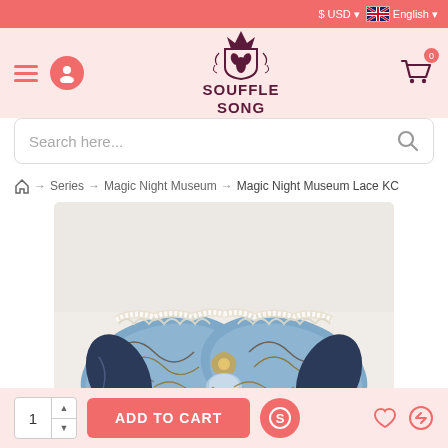$ USD  English
[Figure (logo): Souffle Song brand logo with crown and shield emblem]
Search here...
Home → Series → Magic Night Museum → Magic Night Museum Lace KC
[Figure (photo): Close-up photo of a lace bow accessory (KC headpiece) from the Magic Night Museum series, featuring blue fabric with ornate golden baroque print and white lace trim]
1  ADD TO CART  0